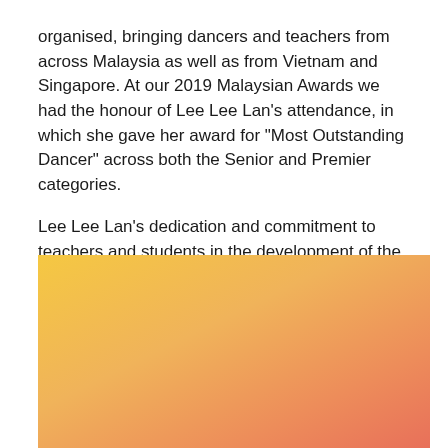organised, bringing dancers and teachers from across Malaysia as well as from Vietnam and Singapore. At our 2019 Malaysian Awards we had the honour of Lee Lee Lan's attendance, in which she gave her award for "Most Outstanding Dancer" across both the Senior and Premier categories.
Lee Lee Lan's dedication and commitment to teachers and students in the development of the Society's syllabus in Malaysia was unfailing and she will be sorely missed by so many.
[Figure (photo): A photograph with a warm gradient background transitioning from golden yellow at the top to orange-pink at the bottom, partially visible.]